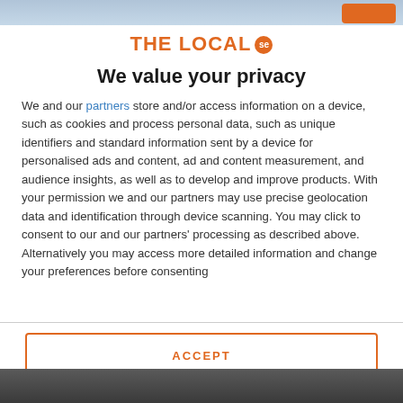[Figure (screenshot): Top navigation bar with gradient background and orange button on the right]
THE LOCAL se
We value your privacy
We and our partners store and/or access information on a device, such as cookies and process personal data, such as unique identifiers and standard information sent by a device for personalised ads and content, ad and content measurement, and audience insights, as well as to develop and improve products. With your permission we and our partners may use precise geolocation data and identification through device scanning. You may click to consent to our and our partners' processing as described above. Alternatively you may access more detailed information and change your preferences before consenting
ACCEPT
MORE OPTIONS
[Figure (photo): Bottom strip showing a partial photo]